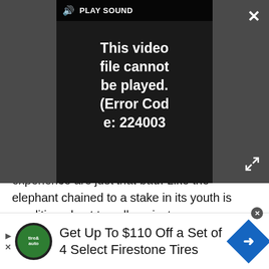[Figure (screenshot): Video player overlay showing 'PLAY SOUND' bar at top, error message 'This video file cannot be played. (Error Code: 224003)' in white text on black background, with close X button top right and expand arrows bottom right, over a dark gray background]
experience are just that bad. Like the elephant chained to a stake in its youth is conditioned not to pull against a mere rope when it is older, Windows phone users are conditioned not to expect much in the way of apps. My expectations are much higher now that I'm on Android.
[Figure (screenshot): Advertisement placeholder block with gray background labeled 'Advertisement']
[Figure (screenshot): Bottom banner advertisement for Firestone Tires: 'Get Up To $110 Off a Set of 4 Select Firestone Tires' with Tire & Auto logo on the left and blue diamond arrow icon on the right]